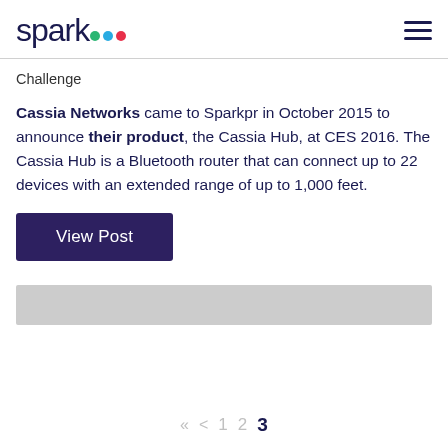spark [logo with green, blue, red dots]
Challenge
Cassia Networks came to Sparkpr in October 2015 to announce their product, the Cassia Hub, at CES 2016. The Cassia Hub is a Bluetooth router that can connect up to 22 devices with an extended range of up to 1,000 feet.
[Figure (other): View Post button — dark purple rectangular button with white text]
[Figure (other): Gray horizontal bar placeholder image]
« < 1 2 3